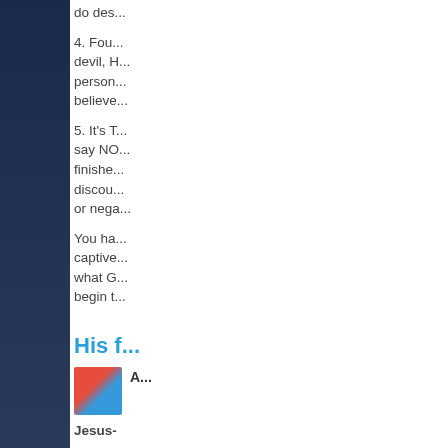do des...
4. Fou... devil, H... person... believe...
5. It's T... say NO... finishe... discou... or nega...
You ha... captive... what G... begin t...
His f...
[Figure (photo): Author photo showing two people]
Jesus-
His she... We ca...